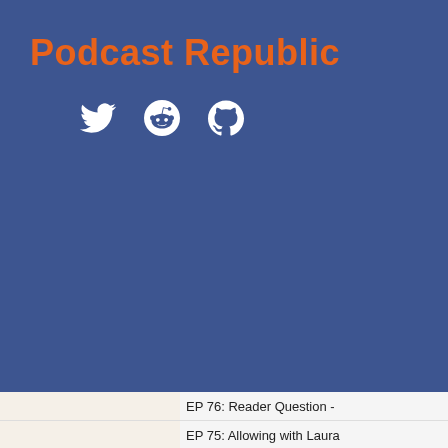Podcast Republic
[Figure (illustration): Social media icons: Twitter bird, Reddit alien, GitHub octocat — displayed in white on blue background]
EP 76: Reader Question -
EP 75: Allowing with Laura